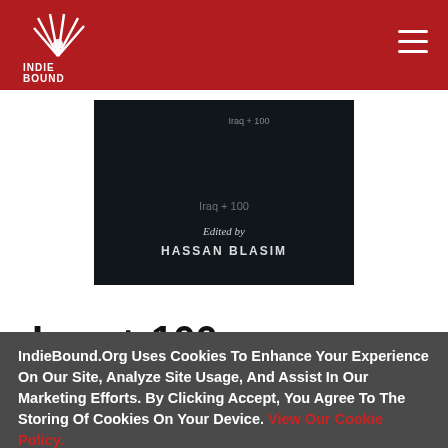[Figure (logo): IndieBound logo — white stylized feather/wing graphic above text INDIE BOUND on a red background]
[Figure (photo): Book cover for Iraq + 100, dark textured background with text 'Edited by HASSAN BLASIM']
Iraq + 100
IndieBound.Org Uses Cookies To Enhance Your Experience On Our Site, Analyze Site Usage, And Assist In Our Marketing Efforts. By Clicking Accept, You Agree To The Storing Of Cookies On Your Device. View Our Cookie Policy.
Give me more info